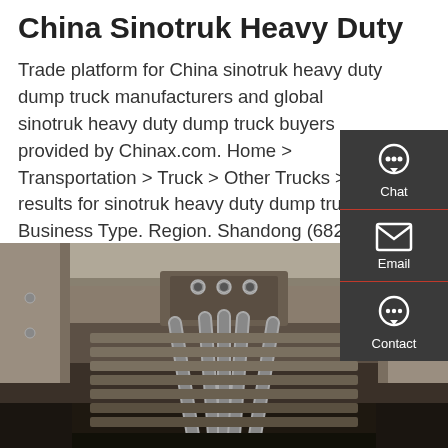China Sinotruk Heavy Duty
Trade platform for China sinotruk heavy duty dump truck manufacturers and global sinotruk heavy duty dump truck buyers provided by Chinax.com. Home > Transportation > Truck > Other Trucks > 774 results for sinotruk heavy duty dump truck; Business Type. Region. Shandong (682) Hubei (38) Henan (9) Anhui (6) HongKong (3) Shanghai (3)
[Figure (other): Red GET A QUOTE button]
[Figure (photo): Close-up photo of heavy duty truck undercarriage showing metal frame, bolts, and parallel rails/axle components]